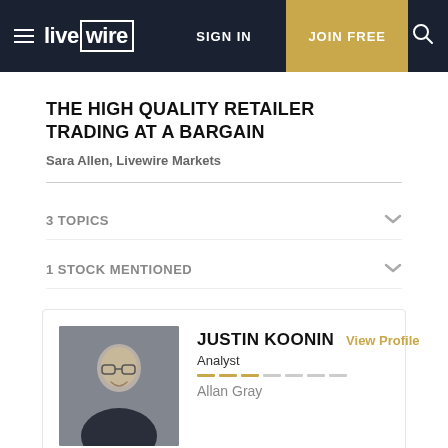live wire | SIGN IN | JOIN FREE
THE HIGH QUALITY RETAILER TRADING AT A BARGAIN
Sara Allen, Livewire Markets
3 TOPICS
1 STOCK MENTIONED
JUSTIN KOONIN  View Profile
Analyst
Allan Gray